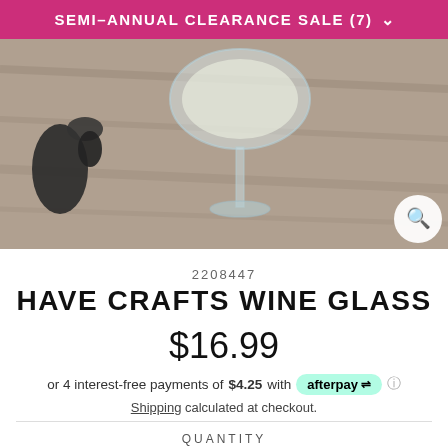SEMI-ANNUAL CLEARANCE SALE (7)
[Figure (photo): Product photo showing a clear wine glass on a wooden surface with scissors and colorful decorative items nearby]
2208447
HAVE CRAFTS WINE GLASS
$16.99
or 4 interest-free payments of $4.25 with afterpay
Shipping calculated at checkout.
QUANTITY
- 1 +